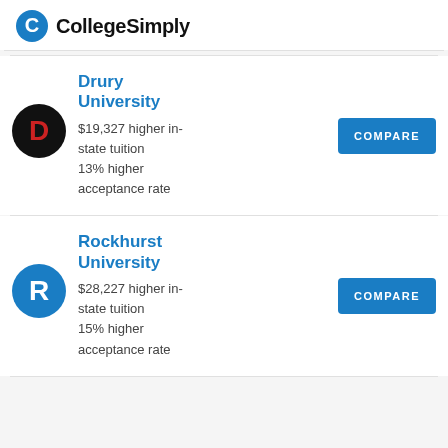CollegeSimply
Drury University
$19,327 higher in-state tuition
13% higher acceptance rate
Rockhurst University
$28,227 higher in-state tuition
15% higher acceptance rate